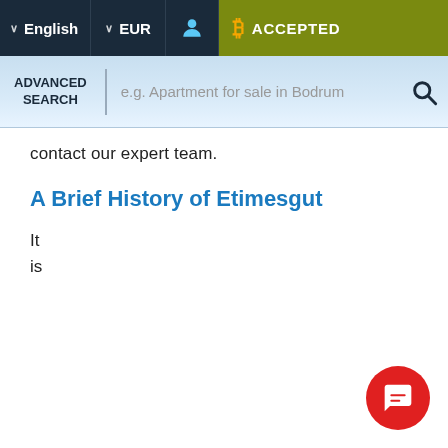English | EUR | [user icon] | Bitcoin ACCEPTED
ADVANCED SEARCH | e.g. Apartment for sale in Bodrum [search icon]
contact our expert team.
A Brief History of Etimesgut
It
is